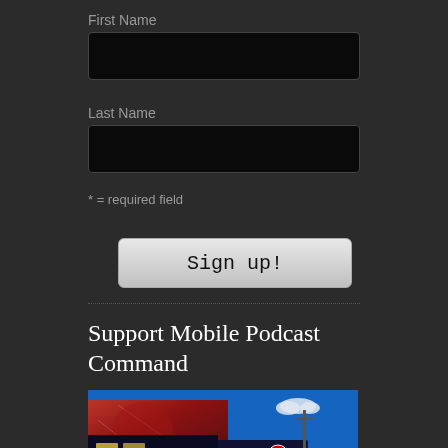First Name
Last Name
* = required field
Sign up!
Support Mobile Podcast Command
[Figure (photo): Photo of a mobile podcast command vehicle (ambulance-style truck) with colorful mural artwork on the side, blue sky in background]